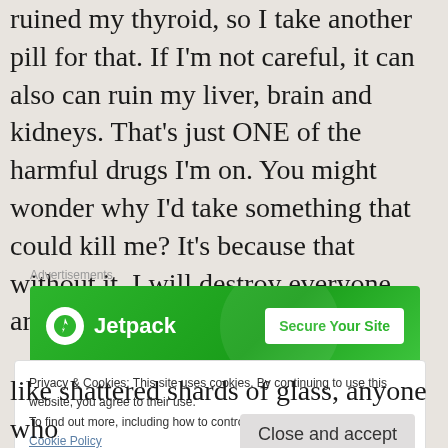ruined my thyroid, so I take another pill for that. If I'm not careful, it can also can ruin my liver, brain and kidneys. That's just ONE of the harmful drugs I'm on. You might wonder why I'd take something that could kill me? It's because that without it, I will destroy everyone around me.
[Figure (screenshot): Jetpack advertisement banner with green background showing Jetpack logo and 'Secure Your Site' button]
Privacy & Cookies: This site uses cookies. By continuing to use this website, you agree to their use.
To find out more, including how to control cookies, see here: Cookie Policy
like shattered shards of glass, anyone who